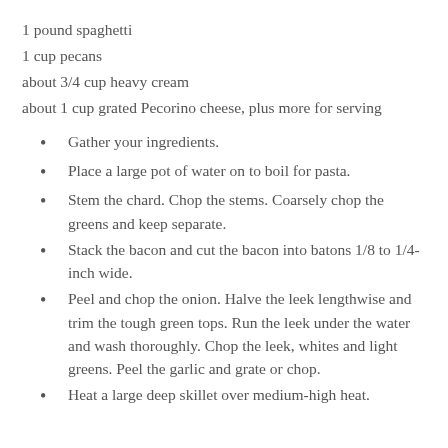1 pound spaghetti
1 cup pecans
about 3/4 cup heavy cream
about 1 cup grated Pecorino cheese, plus more for serving
Gather your ingredients.
Place a large pot of water on to boil for pasta.
Stem the chard. Chop the stems. Coarsely chop the greens and keep separate.
Stack the bacon and cut the bacon into batons 1/8 to 1/4-inch wide.
Peel and chop the onion. Halve the leek lengthwise and trim the tough green tops. Run the leek under the water and wash thoroughly. Chop the leek, whites and light greens. Peel the garlic and grate or chop.
Heat a large deep skillet over medium-high heat.